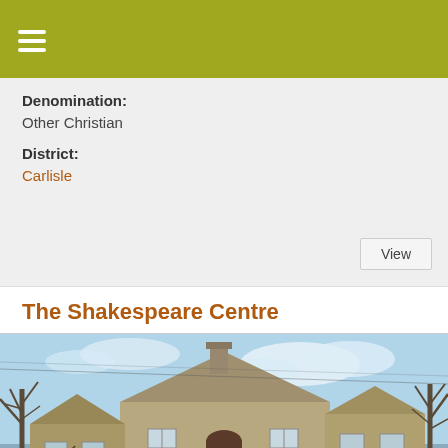Denomination:
Other Christian
District:
Carlisle
The Shakespeare Centre
[Figure (photo): Exterior photo of The Shakespeare Centre, a stone building with gabled roof, bare winter trees on either side, arched doorway, and blue cloudy sky in background.]